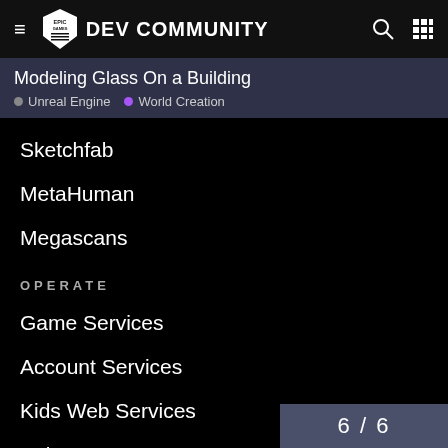Epic Games DEV COMMUNITY
Modeling Glass On a Building
Unreal Engine · World Creation
Sketchfab
MetaHuman
Megascans
OPERATE
Game Services
Account Services
Kids Web Services
Epic Games Store
6 / 6